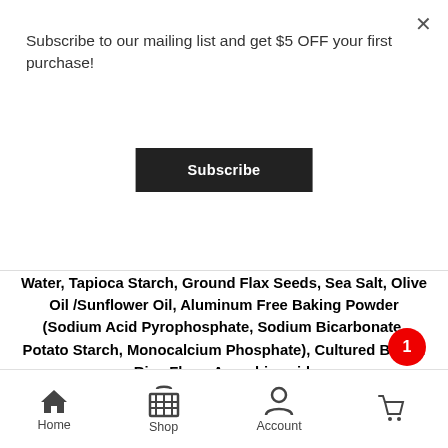Subscribe to our mailing list and get $5 OFF your first purchase!
Subscribe
Water, Tapioca Starch, Ground Flax Seeds, Sea Salt, Olive Oil /Sunflower Oil, Aluminum Free Baking Powder (Sodium Acid Pyrophosphate, Sodium Bicarbonate, Potato Starch, Monocalcium Phosphate), Cultured Brown Rice Flour, Ascorbic acid.
- 1 +
Details
Add to cart
Home  Shop  Account